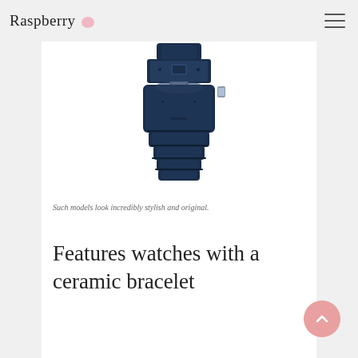Raspberry
[Figure (photo): Close-up photo of the back of a navy blue ceramic watch bracelet/case with clasp mechanism visible, photographed against a white background.]
Such models look incredibly stylish and original.
Features watches with a ceramic bracelet